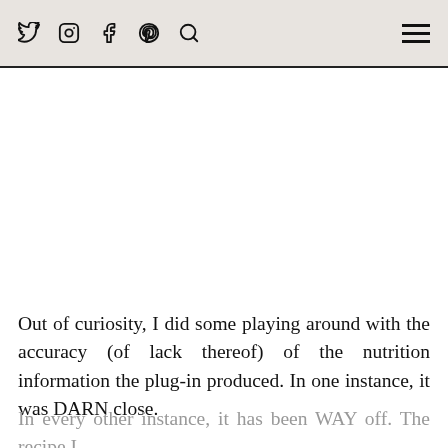social media icons: twitter, instagram, facebook, pinterest, search, hamburger menu
Out of curiosity, I did some playing around with the accuracy (of lack thereof) of the nutrition information the plug-in produced. In one instance, it was DARN close.
In every other instance, it has been WAY off. The recipe I